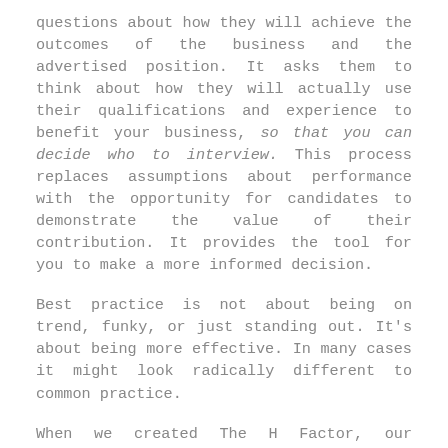questions about how they will achieve the outcomes of the business and the advertised position. It asks them to think about how they will actually use their qualifications and experience to benefit your business, so that you can decide who to interview. This process replaces assumptions about performance with the opportunity for candidates to demonstrate the value of their contribution. It provides the tool for you to make a more informed decision.
Best practice is not about being on trend, funky, or just standing out. It's about being more effective. In many cases it might look radically different to common practice.
When we created The H Factor, our approach was to identify the best approach for managing